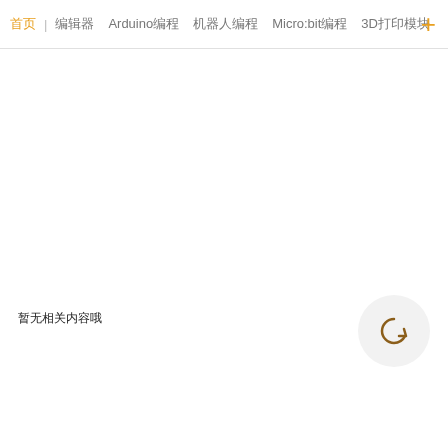首页 | 编辑器 Arduino编程 机器人编程 Micro:bit编程 3D打印模块
暂无相关内容哦
[Figure (other): Circular refresh/reload button icon with a circular arrow, light gray background]